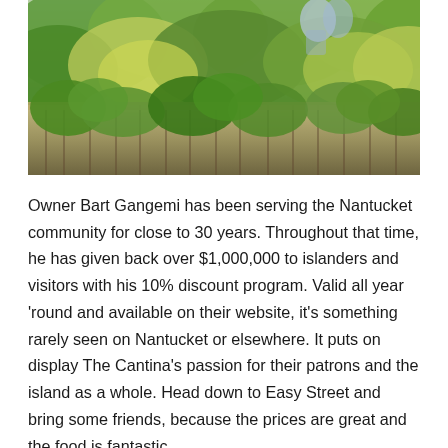[Figure (photo): Outdoor photo showing lush green garden plants and foliage growing over and around a weathered wooden fence. People are partially visible in the background behind the greenery.]
Owner Bart Gangemi has been serving the Nantucket community for close to 30 years. Throughout that time, he has given back over $1,000,000 to islanders and visitors with his 10% discount program. Valid all year 'round and available on their website, it's something rarely seen on Nantucket or elsewhere. It puts on display The Cantina's passion for their patrons and the island as a whole. Head down to Easy Street and bring some friends, because the prices are great and the food is fantastic.